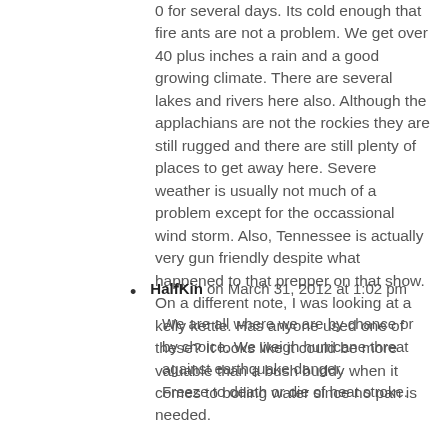0 for several days. Its cold enough that fire ants are not a problem. We get over 40 plus inches a rain and a good growing climate. There are several lakes and rivers here also. Although the applachians are not the rockies they are still rugged and there are still plenty of places to get away here. Severe weather is usually not much of a problem except for the occassional wind storm. Also, Tennessee is actually very gun friendly despite what happened to that prepper on that show. On a different note, I was looking at a kelly kettle. Has anyone used one of these? It looks like it could be more valuable than a bush buddy when it comes to boiling water since no pan is needed.
HalfKin on March 31, 2012 at 1:02 pm
We are all where we are by chance or by choice. We weigh hurricane threat against earthquake danger.
Freeze to death or die of heat stroke.